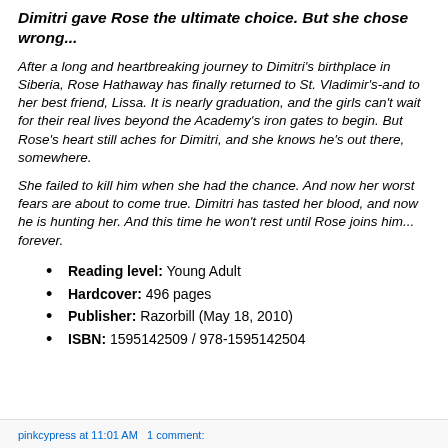Dimitri gave Rose the ultimate choice. But she chose wrong...
After a long and heartbreaking journey to Dimitri's birthplace in Siberia, Rose Hathaway has finally returned to St. Vladimir's-and to her best friend, Lissa. It is nearly graduation, and the girls can't wait for their real lives beyond the Academy's iron gates to begin. But Rose's heart still aches for Dimitri, and she knows he's out there, somewhere.
She failed to kill him when she had the chance. And now her worst fears are about to come true. Dimitri has tasted her blood, and now he is hunting her. And this time he won't rest until Rose joins him... forever.
Reading level: Young Adult
Hardcover: 496 pages
Publisher: Razorbill (May 18, 2010)
ISBN: 1595142509 / 978-1595142504
pinkcypress at 11:01 AM   1 comment: